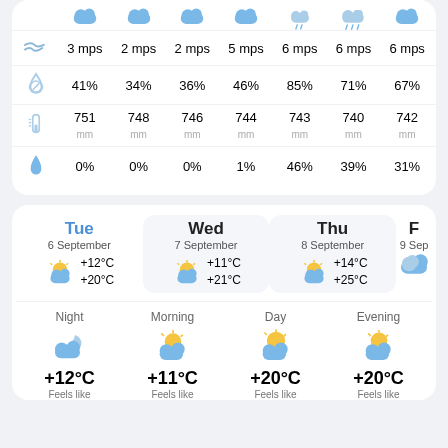| Icon | Col1 | Col2 | Col3 | Col4 | Col5 | Col6 | Col7 |
| --- | --- | --- | --- | --- | --- | --- | --- |
| wind | 3 mps | 2 mps | 2 mps | 5 mps | 6 mps | 6 mps | 6 mps |
| humidity | 41% | 34% | 36% | 46% | 85% | 71% | 67% |
| pressure | 751 mm | 748 mm | 746 mm | 744 mm | 743 mm | 740 mm | 742 mm |
| precipitation | 0% | 0% | 0% | 1% | 46% | 39% | 31% |
| Tue 6 September | Wed 7 September | Thu 8 September | 9 Sep |
| --- | --- | --- | --- |
| +12°C / +20°C | +11°C / +21°C | +14°C / +25°C |  |
| Night | Morning | Day | Evening |
| --- | --- | --- | --- |
| +12°C Feels like | +11°C Feels like | +20°C Feels like | +20°C Feels like |